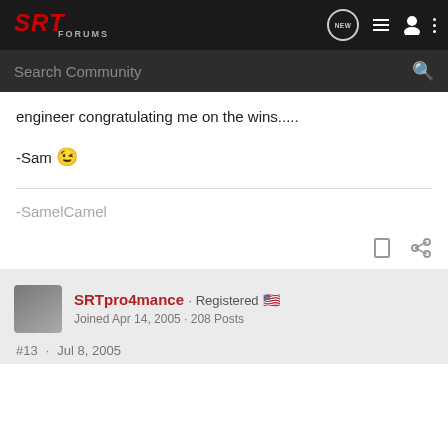SRT Forums navigation bar with logo, NEW message icon, list icon, user icon, menu icon
Search Community
engineer congratulating me on the wins.....
-Sam 😉
-SamelCamel
SRTpro4mance · Registered 🇺🇸
Joined Apr 14, 2005 · 208 Posts
#13 · Jul 8, 2005